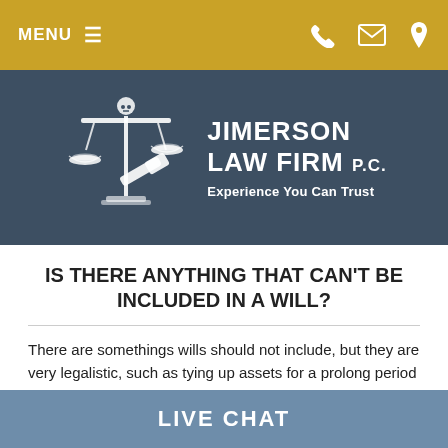MENU  ☰
[Figure (logo): Jimerson Law Firm P.C. logo with scales of justice and gavel illustration. Text reads: JIMERSON LAW FIRM P.C. Experience You Can Trust]
IS THERE ANYTHING THAT CAN'T BE INCLUDED IN A WILL?
There are somethings wills should not include, but they are very legalistic, such as tying up assets for a prolong period is called the Rule Against Perpetuities. This is very complicated and I don't expect anyone to fully understand it because the Courts without direction don't understand it. Illegal restrictive covenants
LIVE CHAT